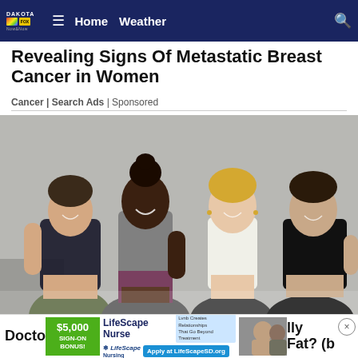Dakota Fox NBC | Home | Weather
Revealing Signs Of Metastatic Breast Cancer in Women
Cancer | Search Ads | Sponsored
[Figure (photo): Four smiling women in athletic wear (sports bras and workout bottoms) posing together against a gray concrete wall background]
Doctor [ad overlay] LifeScape Nurse $5,000 SIGN-ON BONUS! | Lvnb Creates Relationships That Go Beyond Treatment | LifeScape Nursing | Apply at LifeScapeSD.org | lly Fat? (b...